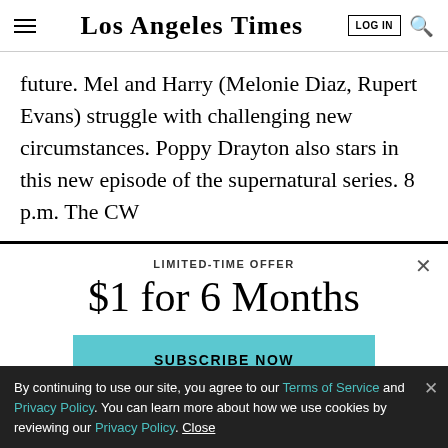Los Angeles Times | LOG IN | Search
future. Mel and Harry (Melonie Diaz, Rupert Evans) struggle with challenging new circumstances. Poppy Drayton also stars in this new episode of the supernatural series. 8 p.m. The CW
LIMITED-TIME OFFER
$1 for 6 Months
SUBSCRIBE NOW
By continuing to use our site, you agree to our Terms of Service and Privacy Policy. You can learn more about how we use cookies by reviewing our Privacy Policy. Close